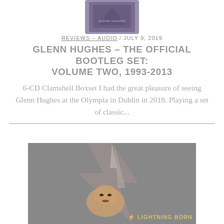[Figure (photo): Album cover thumbnail, partially visible at top center, dark purple/grey toned]
REVIEWS – AUDIO / JULY 9, 2019
GLENN HUGHES – THE OFFICIAL BOOTLEG SET: VOLUME TWO, 1993-2013
6-CD Clamshell Boxset I had the great pleasure of seeing Glenn Hughes at the Olympia in Dublin in 2018. Playing a set of classic...
[Figure (photo): Album cover art for Lightning Born, grey background with stylized lightning bolt graphic and a face, text reads LIGHTNING BORN at bottom right]